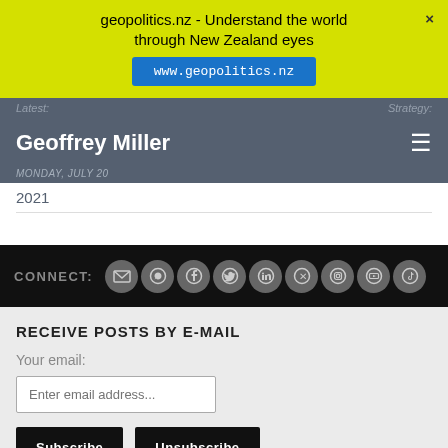geopolitics.nz - Understand the world through New Zealand eyes
www.geopolitics.nz
Geoffrey Miller
2021
CONNECT:
RECEIVE POSTS BY E-MAIL
Your email:
Enter email address...
Subscribe
Unsubscribe